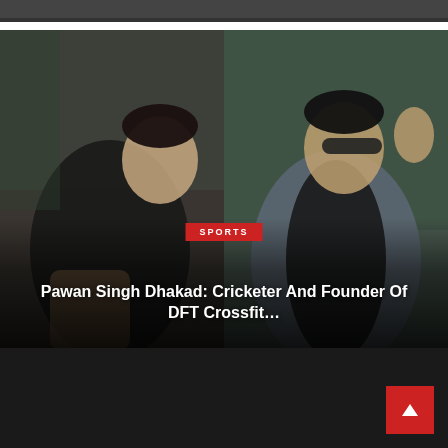[Figure (photo): Top partial image strip showing a dark scene]
[Figure (photo): Two men posing — left man in dark shirt with beard, right man in grey blazer with sunglasses]
SPORTS
Pawan Singh Dhakad: Cricketer And Founder Of DFT Crossfit…
[Figure (other): Dark footer bar with red scroll-to-top button containing an upward arrow]